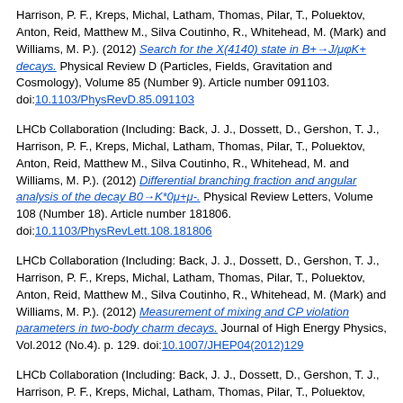Harrison, P. F., Kreps, Michal, Latham, Thomas, Pilar, T., Poluektov, Anton, Reid, Matthew M., Silva Coutinho, R., Whitehead, M. (Mark) and Williams, M. P.). (2012) Search for the X(4140) state in B+→J/μφK+ decays. Physical Review D (Particles, Fields, Gravitation and Cosmology), Volume 85 (Number 9). Article number 091103. doi:10.1103/PhysRevD.85.091103
LHCb Collaboration (Including: Back, J. J., Dossett, D., Gershon, T. J., Harrison, P. F., Kreps, Michal, Latham, Thomas, Pilar, T., Poluektov, Anton, Reid, Matthew M., Silva Coutinho, R., Whitehead, M. and Williams, M. P.). (2012) Differential branching fraction and angular analysis of the decay B0→K*0μ+μ-. Physical Review Letters, Volume 108 (Number 18). Article number 181806. doi:10.1103/PhysRevLett.108.181806
LHCb Collaboration (Including: Back, J. J., Dossett, D., Gershon, T. J., Harrison, P. F., Kreps, Michal, Latham, Thomas, Pilar, T., Poluektov, Anton, Reid, Matthew M., Silva Coutinho, R., Whitehead, M. (Mark) and Williams, M. P.). (2012) Measurement of mixing and CP violation parameters in two-body charm decays. Journal of High Energy Physics, Vol.2012 (No.4). p. 129. doi:10.1007/JHEP04(2012)129
LHCb Collaboration (Including: Back, J. J., Dossett, D., Gershon, T. J., Harrison, P. F., Kreps, Michal, Latham, Thomas, Pilar, T., Poluektov, Anton, Reid, Matthew M., Silva Coutinho, R., Whitehead, M. (Mark) and Williams, M. P.). (2012) Measurement of charged particle multiplicities in pp collisions...